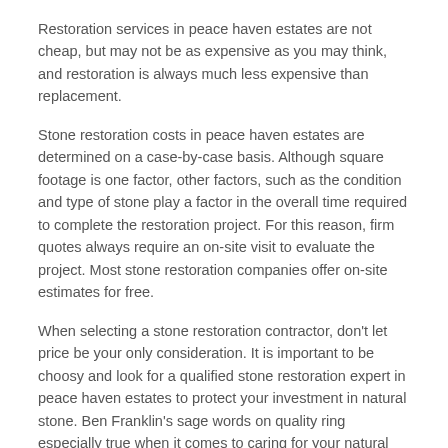Restoration services in peace haven estates are not cheap, but may not be as expensive as you may think, and restoration is always much less expensive than replacement.
Stone restoration costs in peace haven estates are determined on a case-by-case basis. Although square footage is one factor, other factors, such as the condition and type of stone play a factor in the overall time required to complete the restoration project. For this reason, firm quotes always require an on-site visit to evaluate the project. Most stone restoration companies offer on-site estimates for free.
When selecting a stone restoration contractor, don't let price be your only consideration. It is important to be choosy and look for a qualified stone restoration expert in peace haven estates to protect your investment in natural stone. Ben Franklin's sage words on quality ring especially true when it comes to caring for your natural stone: "The bitterness of poor quality remains long after the sweetness of low price is forgotten."
How Long Does it Typically Take to Have Stone Restored?
The time it takes to restore your marble or other natural stone varies greatly depending on the type of stone, the size of the area to be